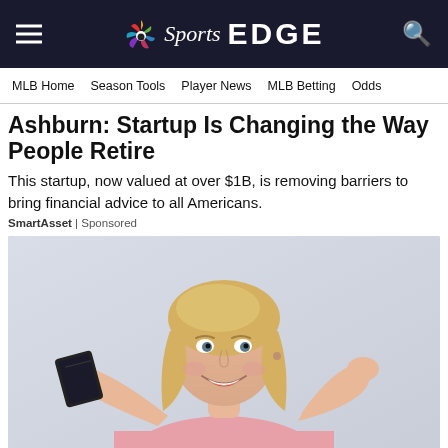NBC Sports EDGE
MLB Home  Season Tools  Player News  MLB Betting  Odds
Ashburn: Startup Is Changing the Way People Retire
This startup, now valued at over $1B, is removing barriers to bring financial advice to all Americans.
SmartAsset | Sponsored
[Figure (photo): A smiling middle-aged blonde woman in a pink sweater holding up a dark card, photographed against a light grey background.]